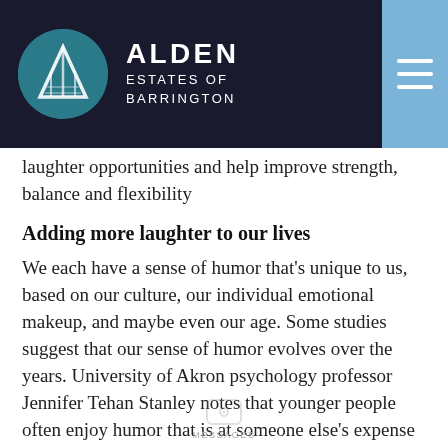ALDEN ESTATES OF BARRINGTON
laughter opportunities and help improve strength, balance and flexibility
Adding more laughter to our lives
We each have a sense of humor that’s unique to us, based on our culture, our individual emotional makeup, and maybe even our age. Some studies suggest that our sense of humor evolves over the years. University of Akron psychology professor Jennifer Tehan Stanley notes that younger people often enjoy humor that is at someone else’s expense —“aggressive humor.” But as people age, they tend to find these jokes “mean,” and are more likely to enjoy situations